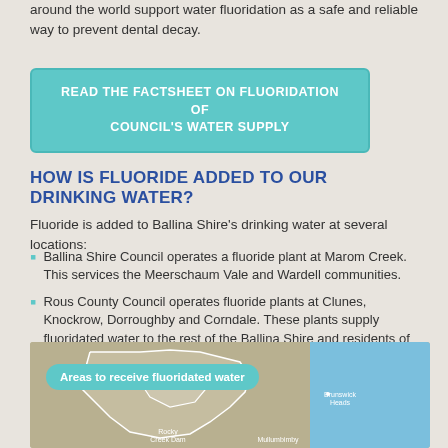around the world support water fluoridation as a safe and reliable way to prevent dental decay.
READ THE FACTSHEET ON FLUORIDATION OF COUNCIL'S WATER SUPPLY
HOW IS FLUORIDE ADDED TO OUR DRINKING WATER?
Fluoride is added to Ballina Shire's drinking water at several locations:
Ballina Shire Council operates a fluoride plant at Marom Creek. This services the Meerschaum Vale and Wardell communities.
Rous County Council operates fluoride plants at Clunes, Knockrow, Dorroughby and Corndale. These plants supply fluoridated water to the rest of the Ballina Shire and residents of Lismore, and Richmond Valley.
[Figure (map): Map showing areas to receive fluoridated water in the Ballina Shire region, with a teal/blue ocean on the right side and tan-colored land areas with white boundary lines. Labels visible include Brunswick Heads, Rocky Creek Dam, and Mullumbimby.]